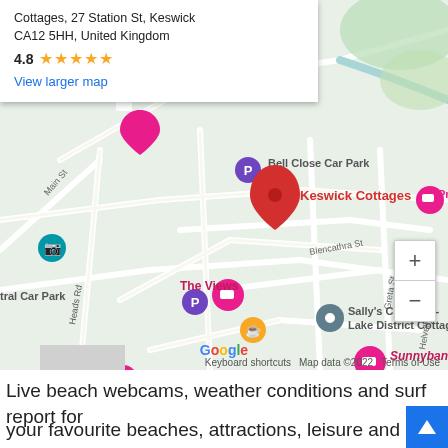[Figure (map): Google Maps screenshot showing Keswick town center with markers for Keswick Cottages (red pin, selected), YHA Keswick, Pippin Cottage, The Views, Sally's Cottages - Lake District Cottages, Sunnybank Cottage, Lakeside House B & B Keswick, Bell Close Car Park, and other local landmarks. Info box shows address: 27 Station St, Keswick CA12 5HH, United Kingdom, rating 4.8 stars, and View larger map link. Map data ©2022.]
Live beach webcams, weather conditions and surf report for
your favourite beaches, attractions, leisure and tourism